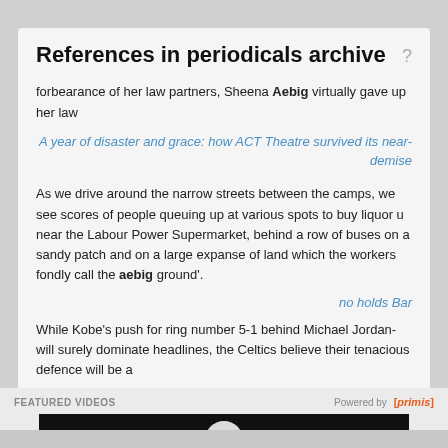References in periodicals archive
forbearance of her law partners, Sheena Aebig virtually gave up her law
A year of disaster and grace: how ACT Theatre survived its near-demise
As we drive around the narrow streets between the camps, we see scores of people queuing up at various spots to buy liquor u near the Labour Power Supermarket, behind a row of buses on a sandy patch and on a large expanse of land which the workers fondly call the aebig ground'.
no holds Bar
While Kobe's push for ring number 5-1 behind Michael Jordan- will surely dominate headlines, the Celtics believe their tenacious defence will be a
FEATURED VIDEOS
Powered by [primis]